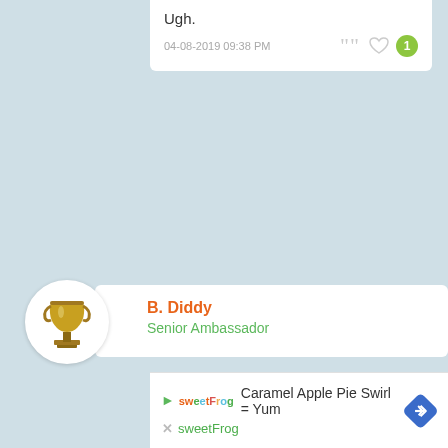Ugh.
04-08-2019 09:38 PM
[Figure (screenshot): Forum post card showing text 'Ugh.' with date 04-08-2019 09:38 PM, quote icon, heart icon, and green badge with number 1]
[Figure (photo): Avatar image of a trophy/goblet object in a circular frame]
B. Diddy
Senior Ambassador
[Figure (screenshot): Advertisement banner for sweetFrog: 'Caramel Apple Pie Swirl = Yum' with sweetFrog logo and blue diamond arrow icon]